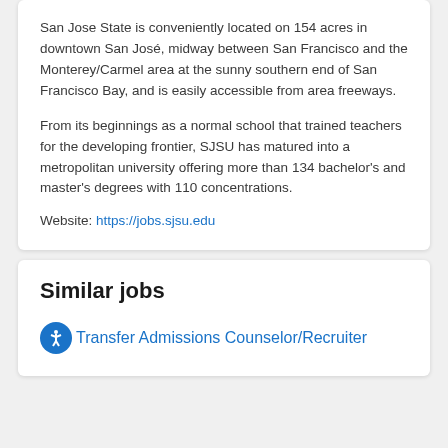San Jose State is conveniently located on 154 acres in downtown San José, midway between San Francisco and the Monterey/Carmel area at the sunny southern end of San Francisco Bay, and is easily accessible from area freeways.
From its beginnings as a normal school that trained teachers for the developing frontier, SJSU has matured into a metropolitan university offering more than 134 bachelor's and master's degrees with 110 concentrations.
Website: https://jobs.sjsu.edu
Similar jobs
Transfer Admissions Counselor/Recruiter